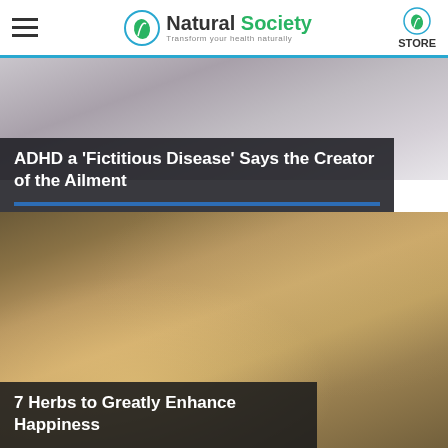Natural Society – Transform your health naturally – STORE
[Figure (photo): Blurred grayscale/purple-toned background photo for ADHD article]
ADHD a 'Fictitious Disease' Says the Creator of the Ailment
[Figure (photo): Blurred warm brown/golden-toned background photo for herbs article]
7 Herbs to Greatly Enhance Happiness